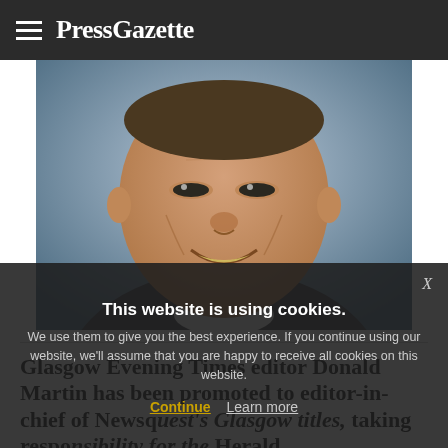PressGazette
[Figure (photo): Close-up photo of a man's face smiling, wearing a suit, blurred background]
Glasgow Evening Times editor Donald Martin has been promoted to editor-in-chief of Newsquest's Glasgow titles, taking responsibility for the Herald
This website is using cookies. We use them to give you the best experience. If you continue using our website, we'll assume that you are happy to receive all cookies on this website.
Continue  Learn more